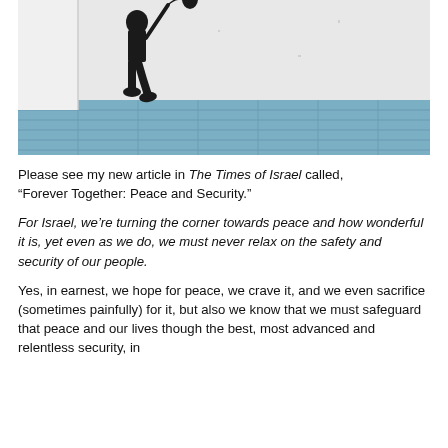[Figure (photo): Street art / graffiti image on a wall showing a figure (appearing to be a child or person) walking, holding a balloon string, rendered in black and white on a light wall above a blue-tiled sidewalk.]
Please see my new article in The Times of Israel called, “Forever Together: Peace and Security.”
For Israel, we’re turning the corner towards peace and how wonderful it is, yet even as we do, we must never relax on the safety and security of our people.
Yes, in earnest, we hope for peace, we crave it, and we even sacrifice (sometimes painfully) for it, but also we know that we must safeguard that peace and our lives though the best, most advanced and relentless security, in